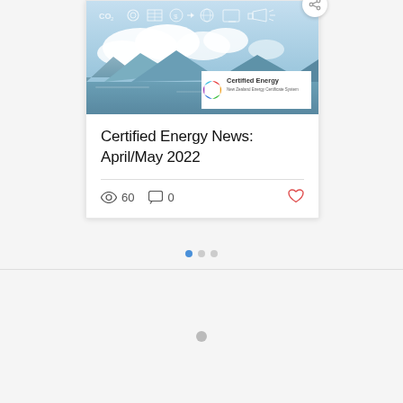[Figure (photo): Card with a scenic photo of mountains, lake, clouds and sky with energy/CO2 icons overlaid. Certified Energy logo box overlaid at bottom-right of image.]
Certified Energy News: April/May 2022
60 views, 0 comments, like button